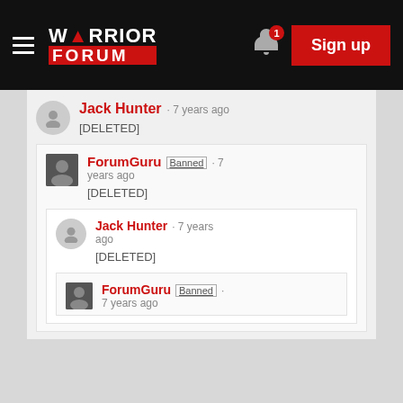Warrior Forum – Sign up
Jack Hunter · 7 years ago
[DELETED]
ForumGuru Banned · 7 years ago
[DELETED]
Jack Hunter · 7 years ago
[DELETED]
ForumGuru Banned · 7 years ago